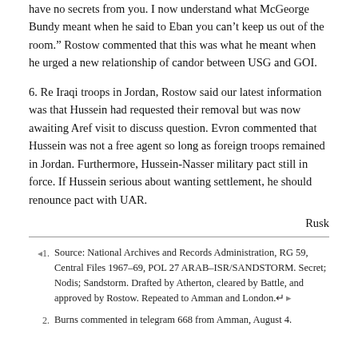have no secrets from you. I now understand what McGeorge Bundy meant when he said to Eban you can't keep us out of the room." Rostow commented that this was what he meant when he urged a new relationship of candor between USG and GOI.
6. Re Iraqi troops in Jordan, Rostow said our latest information was that Hussein had requested their removal but was now awaiting Aref visit to discuss question. Evron commented that Hussein was not a free agent so long as foreign troops remained in Jordan. Furthermore, Hussein-Nasser military pact still in force. If Hussein serious about wanting settlement, he should renounce pact with UAR.
Rusk
1. Source: National Archives and Records Administration, RG 59, Central Files 1967-69, POL 27 ARAB-ISR/SANDSTORM. Secret; Nodis; Sandstorm. Drafted by Atherton, cleared by Battle, and approved by Rostow. Repeated to Amman and London.
2. Burns commented in telegram 668 from Amman, August 4.